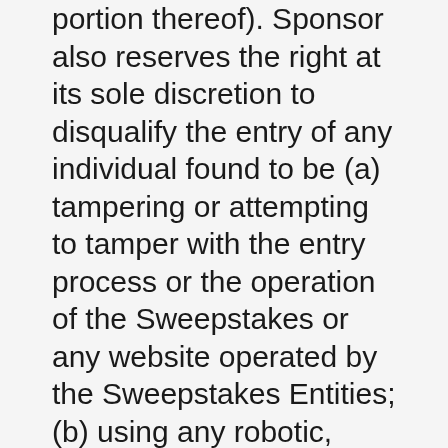portion thereof). Sponsor also reserves the right at its sole discretion to disqualify the entry of any individual found to be (a) tampering or attempting to tamper with the entry process or the operation of the Sweepstakes or any website operated by the Sweepstakes Entities; (b) using any robotic, macro, automatic, programmed or like entry methods, which will void all such entries; (c) violating these Official Rules or the terms of service, conditions of use, and/or general rules of any Sponsor property or service; or (d) acting in an unsportsmanlike or disruptive manner, or with intent to